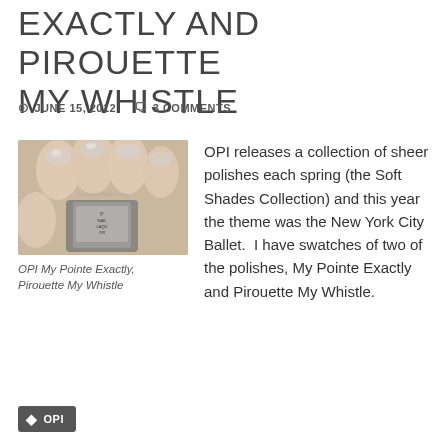EXACTLY AND PIROUETTE MY WHISTLE
JUNE 15, 2012   3 COMMENTS
[Figure (photo): A hand holding a sheer nail polish bottle by OPI, showing nails painted with a sheer pinkish-silver color. Watermark: LacquerWear.com]
OPI My Pointe Exactly, Pirouette My Whistle
OPI releases a collection of sheer polishes each spring (the Soft Shades Collection) and this year the theme was the New York City Ballet.  I have swatches of two of the polishes, My Pointe Exactly and Pirouette My Whistle.
Continue reading →
OPI